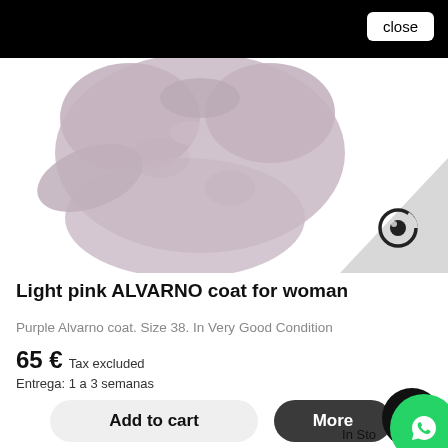[Figure (photo): Top portion of a light pink/mauve fluffy ALVARNO coat for woman, displayed on white background. Bottom right corner has a grey triangle with an eye/camera icon.]
Light pink ALVARNO coat for woman
Purple Alvarno coat. Size 38. In Very Good Condition
65 € Tax excluded
Entrega: 1 a 3 semanas
Add to cart
More
In Sto